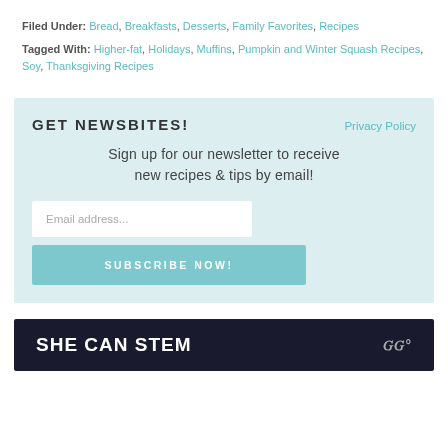Filed Under: Bread, Breakfasts, Desserts, Family Favorites, Recipes
Tagged With: Higher-fat, Holidays, Muffins, Pumpkin and Winter Squash Recipes, Soy, Thanksgiving Recipes
GET NEWSBITES!
Privacy Policy
Sign up for our newsletter to receive new recipes & tips by email!
Email address...
SUBSCRIBE NOW!
[Figure (other): SHE CAN STEM banner with dark background and MM logo]